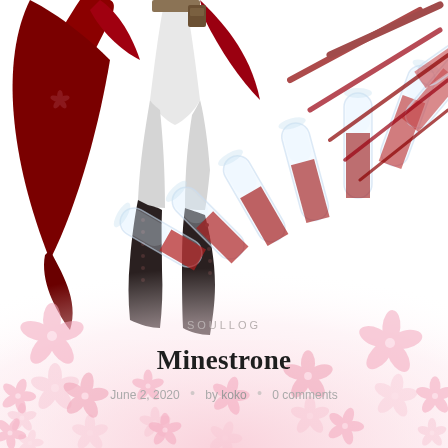[Figure (illustration): Anime-style illustration of a character's lower body in white pants and dark boots with a dark red cape, surrounded by several glass test tubes/vials containing red liquid, scattered in a fan pattern. Background is white with pink cherry blossom flower decorations in the lower portion.]
SOULLOG
Minestrone
June 2, 2020 • by koko • 0 comments